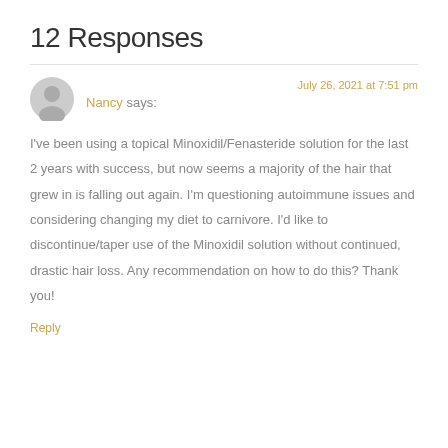12 Responses
Nancy says:   July 26, 2021 at 7:51 pm
I've been using a topical Minoxidil/Fenasteride solution for the last 2 years with success, but now seems a majority of the hair that grew in is falling out again. I'm questioning autoimmune issues and considering changing my diet to carnivore. I'd like to discontinue/taper use of the Minoxidil solution without continued, drastic hair loss. Any recommendation on how to do this? Thank you!
Reply